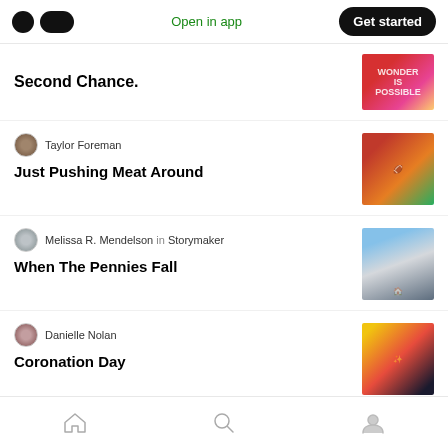Medium logo | Open in app | Get started
Second Chance.
Taylor Foreman
Just Pushing Meat Around
Melissa R. Mendelson in Storymaker
When The Pennies Fall
Danielle Nolan
Coronation Day
Home | Search | Profile